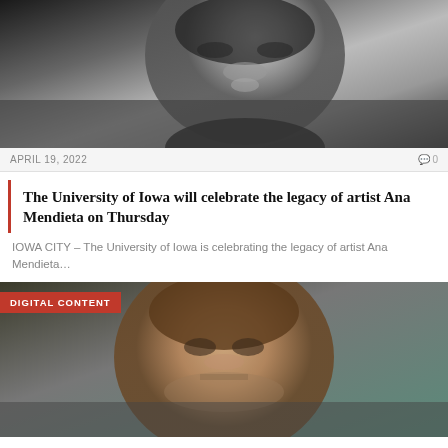[Figure (photo): Black and white close-up portrait photo of a woman (artist Ana Mendieta), cropped at top of page]
APRIL 19, 2022
0
The University of Iowa will celebrate the legacy of artist Ana Mendieta on Thursday
IOWA CITY – The University of Iowa is celebrating the legacy of artist Ana Mendieta…
[Figure (photo): Color photo of a middle-aged bearded man speaking (Alex Jones) with a DIGITAL CONTENT badge overlay]
DIGITAL CONTENT